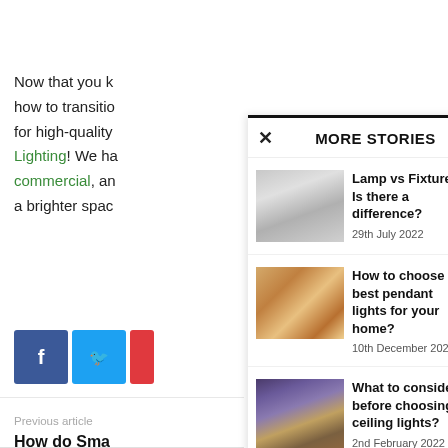Now that you k how to transitio for high-quality Lighting! We ha commercial, an a brighter spac
f (Facebook share button)
🐦 (Twitter share button)
Previous article
How do Sma work?
MORE STORIES
Lamp vs Fixture: Is there a difference?
29th July 2022
How to choose the best pendant lights for your home?
10th December 2021
What to consider before choosing ceiling lights?
2nd February 2022